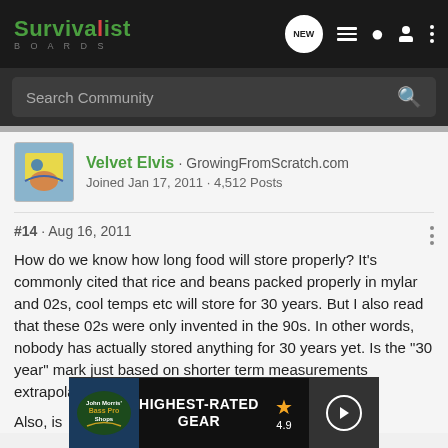Survivalist Boards - Search Community
Velvet Elvis · GrowingFromScratch.com
Joined Jan 17, 2011 · 4,512 Posts
#14 · Aug 16, 2011
How do we know how long food will store properly? It's commonly cited that rice and beans packed properly in mylar and 02s, cool temps etc will store for 30 years. But I also read that these 02s were only invented in the 90s. In other words, nobody has actually stored anything for 30 years yet. Is the "30 year" mark just based on shorter term measurements extrapolated out?
Also, is
[Figure (screenshot): Bass Pro Shops advertisement banner showing 'HIGHEST-RATED GEAR' with a star rating of 4.9 and a play button]